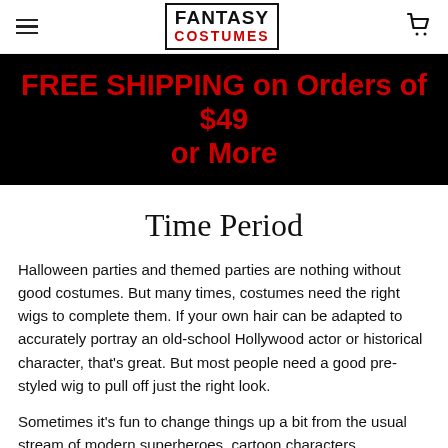FANTASY COSTUMES
FREE SHIPPING on Orders of $49 or More
Time Period
Halloween parties and themed parties are nothing without good costumes. But many times, costumes need the right wigs to complete them. If your own hair can be adapted to accurately portray an old-school Hollywood actor or historical character, that's great. But most people need a good pre-styled wig to pull off just the right look.
Sometimes it's fun to change things up a bit from the usual stream of modern superheroes, cartoon characters